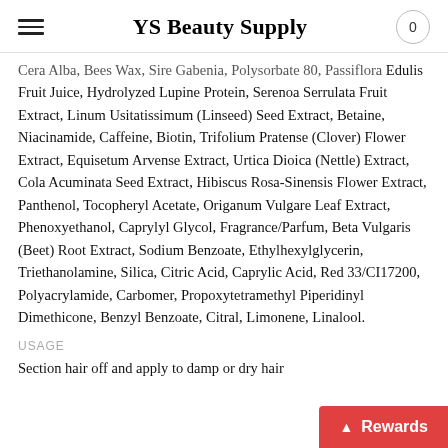YS Beauty Supply
Cera Alba, Bees Wax, Sire Gabenia, Polysorbate 80, Passiflora Edulis Fruit Juice, Hydrolyzed Lupine Protein, Serenoa Serrulata Fruit Extract, Linum Usitatissimum (Linseed) Seed Extract, Betaine, Niacinamide, Caffeine, Biotin, Trifolium Pratense (Clover) Flower Extract, Equisetum Arvense Extract, Urtica Dioica (Nettle) Extract, Cola Acuminata Seed Extract, Hibiscus Rosa-Sinensis Flower Extract, Panthenol, Tocopheryl Acetate, Origanum Vulgare Leaf Extract, Phenoxyethanol, Caprylyl Glycol, Fragrance/Parfum, Beta Vulgaris (Beet) Root Extract, Sodium Benzoate, Ethylhexylglycerin, Triethanolamine, Silica, Citric Acid, Caprylic Acid, Red 33/CI17200, Polyacrylamide, Carbomer, Propoxytetramethyl Piperidinyl Dimethicone, Benzyl Benzoate, Citral, Limonene, Linalool.
USAGE
Section hair off and apply to damp or dry hair